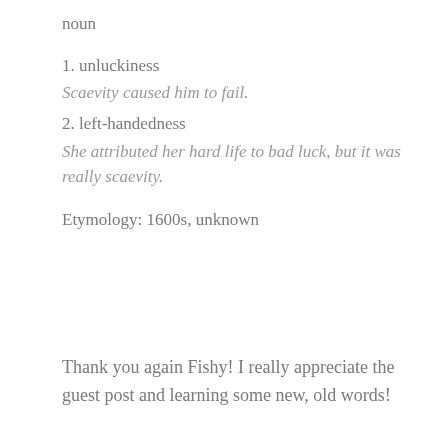noun
1. unluckiness
Scaevity caused him to fail.
2. left-handedness
She attributed her hard life to bad luck, but it was really scaevity.
Etymology: 1600s, unknown
Thank you again Fishy! I really appreciate the guest post and learning some new, old words!